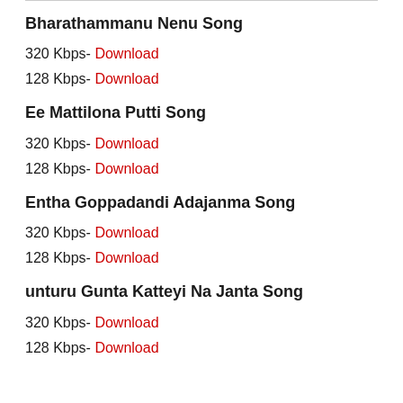Bharathammanu Nenu Song
320 Kbps- Download
128 Kbps- Download
Ee Mattilona Putti Song
320 Kbps- Download
128 Kbps- Download
Entha Goppadandi Adajanma Song
320 Kbps- Download
128 Kbps- Download
unturu Gunta Katteyi Na Janta Song
320 Kbps- Download
128 Kbps- Download